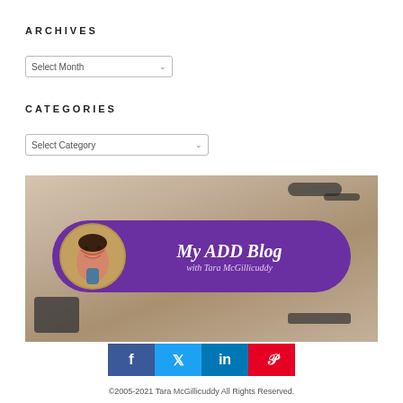ARCHIVES
Select Month
CATEGORIES
Select Category
[Figure (photo): My ADD Blog with Tara McGillicuddy - blog banner image showing a desk with a purple oval banner containing a profile photo and blog title text]
©2005-2021 Tara McGillicuddy All Rights Reserved.